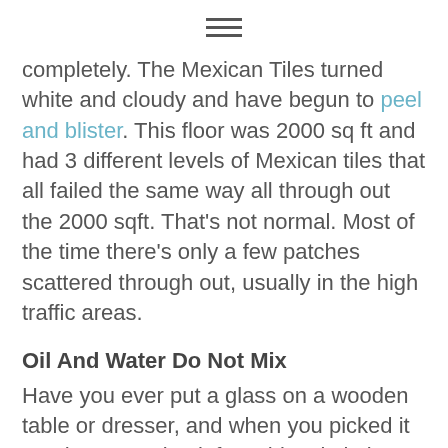≡
completely. The Mexican Tiles turned white and cloudy and have begun to peel and blister. This floor was 2000 sq ft and had 3 different levels of Mexican tiles that all failed the same way all through out the 2000 sqft. That's not normal. Most of the time there's only a few patches scattered through out, usually in the high traffic areas.
Oil And Water Do Not Mix
Have you ever put a glass on a wooden table or dresser, and when you picked it up, the water ring left a white circle in